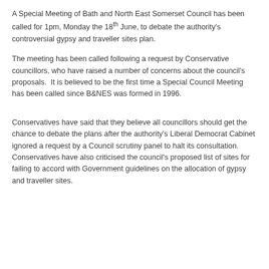A Special Meeting of Bath and North East Somerset Council has been called for 1pm, Monday the 18th June, to debate the authority's controversial gypsy and traveller sites plan.
The meeting has been called following a request by Conservative councillors, who have raised a number of concerns about the council's proposals.  It is believed to be the first time a Special Council Meeting has been called since B&NES was formed in 1996.
Conservatives have said that they believe all councillors should get the chance to debate the plans after the authority's Liberal Democrat Cabinet ignored a request by a Council scrutiny panel to halt its consultation. Conservatives have also criticised the council's proposed list of sites for failing to accord with Government guidelines on the allocation of gypsy and traveller sites.